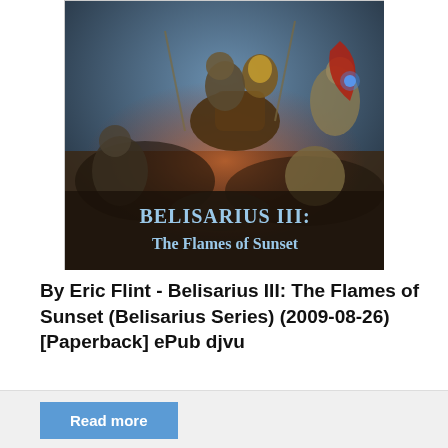[Figure (illustration): Book cover for 'Belisarius III: The Flames of Sunset' showing armored warriors on horseback in battle, with the title text displayed at the bottom of the cover image.]
By Eric Flint - Belisarius III: The Flames of Sunset (Belisarius Series) (2009-08-26) [Paperback] ePub djvu
Read more